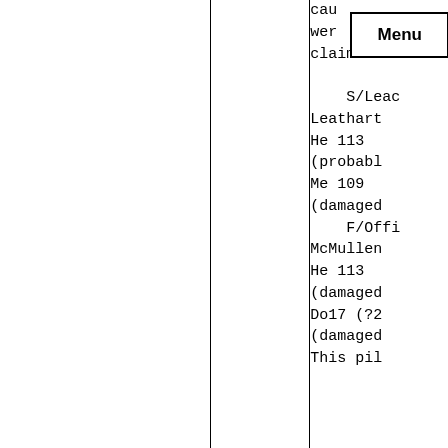|  |  |  |
| --- | --- | --- |
|  |  | cau
wer
claimed:

    S/Leac
Leathart
He 113
(probabl
Me 109
(damaged
    F/Offi
McMullen
He 113
(damaged
Do17 (?2
(damaged
This pil |
[Figure (other): Menu button/overlay appearing in top right area of table cell]